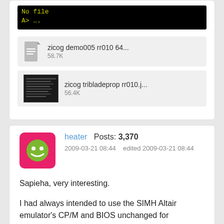[Figure (screenshot): Terminal/command prompt screenshot showing 'No file' message and 'A>...' prompt on black background with yellow-green text]
[Figure (other): File attachment: zicog demo005 rr010 64... (58.7K) with generic file icon]
[Figure (other): File attachment: zicog tribladeprop rr010.j... (56.4K) with thumbnail image]
heater   Posts: 3,370
2009-03-21 08:44   edited 2009-03-21 08:44
Sapieha, very interesting.

I had always intended to use the SIMH Altair emulator's CP/M and BIOS unchanged for compatibility reasons. SIMH has a lot of disk images with a lot of software that we can just "drop in". Also it saves having to maintain an own version of the BIOS. Part of the challenge here was AltairZ80 compatibility. I also reasoned that those 9 wasted bytes in a sector (73152 per disk) were not not worth